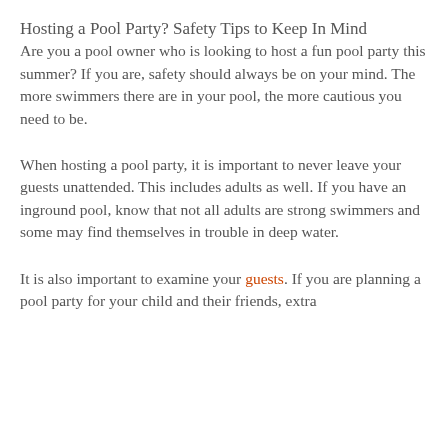Hosting a Pool Party?  Safety Tips to Keep In Mind
Are you a pool owner who is looking to host a fun pool party this summer?  If you are, safety should always be on your mind.  The more swimmers there are in your pool, the more cautious you need to be.
When hosting a pool party, it is important to never leave your guests unattended.  This includes adults as well.  If you have an inground pool, know that not all adults are strong swimmers and some may find themselves in trouble in deep water.
It is also important to examine your guests.  If you are planning a pool party for your child and their friends, extra